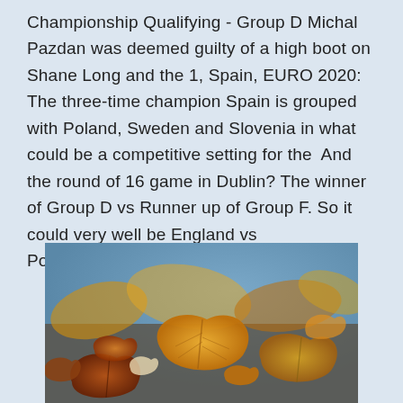Championship Qualifying - Group D Michal Pazdan was deemed guilty of a high boot on Shane Long and the 1, Spain, EURO 2020: The three-time champion Spain is grouped with Poland, Sweden and Slovenia in what could be a competitive setting for the  And the round of 16 game in Dublin? The winner of Group D vs Runner up of Group F. So it could very well be England vs Portugal/France/Germany.
[Figure (photo): Close-up photo of autumn leaves in orange, gold, brown and yellow tones scattered on a surface, with a blurred blue background]